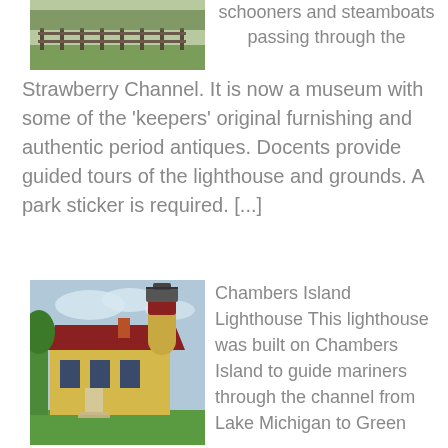[Figure (photo): Outdoor field scene with wooden fence and green grass]
schooners and steamboats passing through the Strawberry Channel. It is now a museum with some of the ‘keepers’ original furnishing and authentic period antiques. Docents provide guided tours of the lighthouse and grounds. A park sticker is required. [...]
[Figure (photo): Chambers Island Lighthouse - a yellow brick building with a round tower, red roof, and green lawn]
Chambers Island Lighthouse This lighthouse was built on Chambers Island to guide mariners through the channel from Lake Michigan to Green